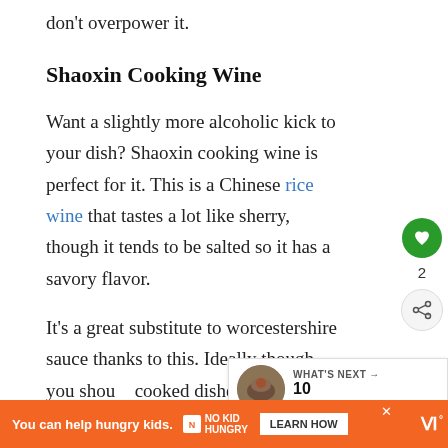don't overpower it.
Shaoxin Cooking Wine
Want a slightly more alcoholic kick to your dish? Shaoxin cooking wine is perfect for it. This is a Chinese rice wine that tastes a lot like sherry, though it tends to be salted so it has a savory flavor.
It's a great substitute to worcestershire sauce thanks to this. Ideally though you shou[ld use it in] cooked dishes rather than uncooked, since it has a[n alcoholic taste]
[Figure (other): Ad banner: You can help hungry kids. No Kid Hungry. Learn How.]